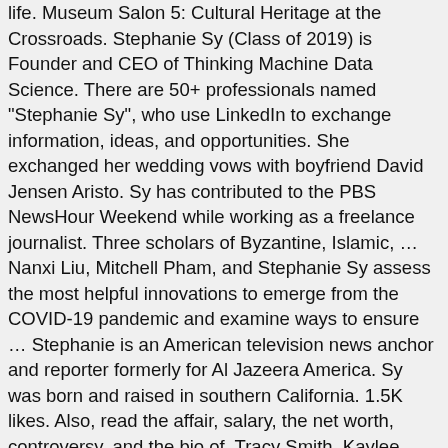life. Museum Salon 5: Cultural Heritage at the Crossroads. Stephanie Sy (Class of 2019) is Founder and CEO of Thinking Machine Data Science. There are 50+ professionals named "Stephanie Sy", who use LinkedIn to exchange information, ideas, and opportunities. She exchanged her wedding vows with boyfriend David Jensen Aristo. Sy has contributed to the PBS NewsHour Weekend while working as a freelance journalist. Three scholars of Byzantine, Islamic, … Nanxi Liu, Mitchell Pham, and Stephanie Sy assess the most helpful innovations to emerge from the COVID-19 pandemic and examine ways to ensure … Stephanie is an American television news anchor and reporter formerly for Al Jazeera America. Sy was born and raised in southern California. 1.5K likes. Also, read the affair, salary, the net worth, controversy, and the bio of  Tracy Smith, Kaylee Hartung, Kristen Ledlow, Chris Wallace, Liz Cho, Stephanie Sy: Childhood, Education, and Family, Stephanie Sy: Description of Body Measurements, View more / View fewer Facts of Stephanie Sy. "To Teach is To Touch a Life Forever" (adsbygoogle = window.adsbygoogle || []).push({}); Jennifer Mcdermed Bio, Family